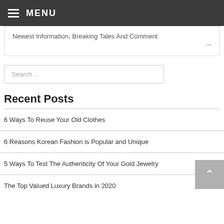MENU
Newest Information, Breaking Tales And Comment
Search ...
Recent Posts
6 Ways To Reuse Your Old Clothes
6 Reasons Korean Fashion is Popular and Unique
5 Ways To Test The Authenticity Of Your Gold Jewelry
The Top Valued Luxury Brands in 2020